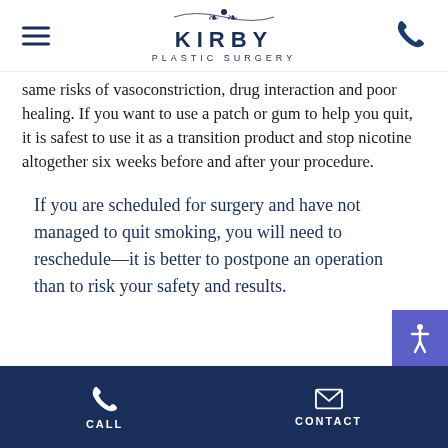KIRBY PLASTIC SURGERY
same risks of vasoconstriction, drug interaction and poor healing. If you want to use a patch or gum to help you quit, it is safest to use it as a transition product and stop nicotine altogether six weeks before and after your procedure.
If you are scheduled for surgery and have not managed to quit smoking, you will need to reschedule—it is better to postpone an operation than to risk your safety and results.
CALL   CONTACT